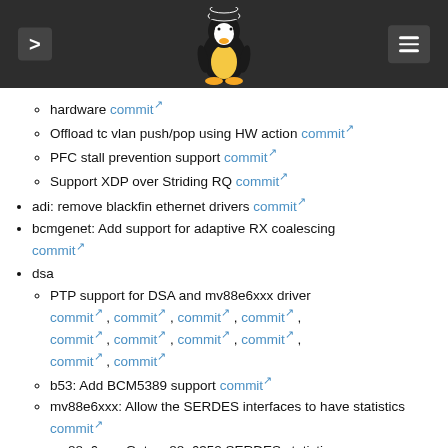Linux kernel changelog header with navigation
hardware commit
Offload tc vlan push/pop using HW action commit
PFC stall prevention support commit
Support XDP over Striding RQ commit
adi: remove blackfin ethernet drivers commit
bcmgenet: Add support for adaptive RX coalescing commit
dsa
PTP support for DSA and mv88e6xxx driver commit , commit , commit , commit , commit , commit , commit , commit , commit , commit
b53: Add BCM5389 support commit
mv88e6xxx: Allow the SERDES interfaces to have statistics commit
mv88e6xxx: Get mv88e6352 SERDES statistics commit
ave: add UniPhier PXs3 support commit
nixge: Add support for National Instruments XGE netdev commit